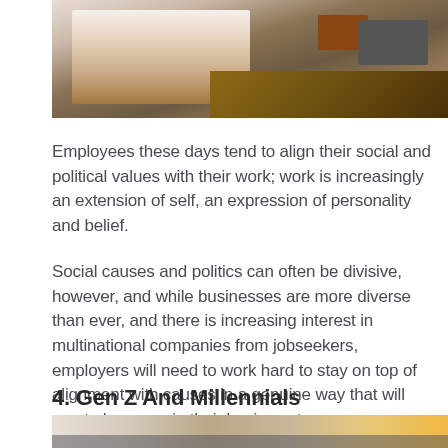[Figure (photo): Person sitting at a wooden desk working, with a book and laptop visible, partial top crop]
Employees these days tend to align their social and political values with their work; work is increasingly an extension of self, an expression of personality and belief.
Social causes and politics can often be divisive, however, and while businesses are more diverse than ever, and there is increasing interest in multinational companies from jobseekers, employers will need to work hard to stay on top of alignment with causes in a genuine way that will create harmony in their business team.
4. Gen Z And Millennials
[Figure (photo): People outdoors, partial bottom crop showing hands and colorful clothing, street scene]